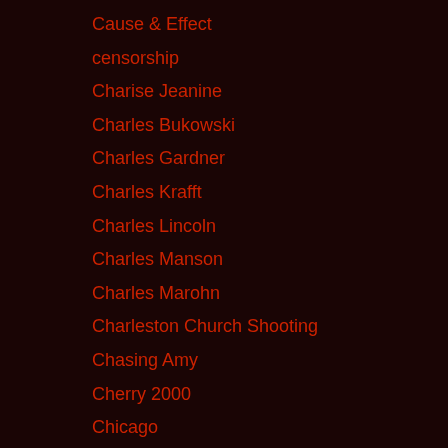Cause & Effect
censorship
Charise Jeanine
Charles Bukowski
Charles Gardner
Charles Krafft
Charles Lincoln
Charles Manson
Charles Marohn
Charleston Church Shooting
Chasing Amy
Cherry 2000
Chicago
Chicago Police Department
China